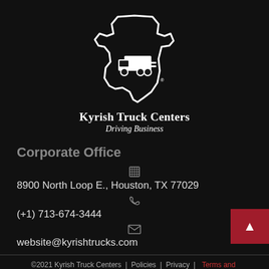[Figure (logo): Kyrish Truck Centers logo: white outline of Texas state shape with a truck/forklift inside, on dark background]
Kyrish Truck Centers
Driving Business
Corporate Office
8900 North Loop E., Houston, TX 77029
(+1) 713-674-3444
website@kyrishtrucks.com
©2021 Kyrish Truck Centers | Policies | Privacy | Terms and Conditions | Sitemap